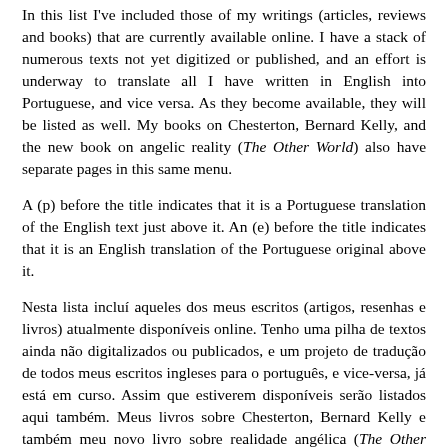In this list I've included those of my writings (articles, reviews and books) that are currently available online. I have a stack of numerous texts not yet digitized or published, and an effort is underway to translate all I have written in English into Portuguese, and vice versa. As they become available, they will be listed as well. My books on Chesterton, Bernard Kelly, and the new book on angelic reality (The Other World) also have separate pages in this same menu.
A (p) before the title indicates that it is a Portuguese translation of the English text just above it. An (e) before the title indicates that it is an English translation of the Portuguese original above it.
Nesta lista incluí aqueles dos meus escritos (artigos, resenhas e livros) atualmente disponíveis online. Tenho uma pilha de textos ainda não digitalizados ou publicados, e um projeto de tradução de todos meus escritos ingleses para o português, e vice-versa, já está em curso. Assim que estiverem disponíveis serão listados aqui também. Meus livros sobre Chesterton, Bernard Kelly e também meu novo livro sobre realidade angélica (The Other World) têm páginas separadas neste mesmo menu.
Um (p) antes do título indica que é uma tradução portuguesa do texto inglês original. Um (e) antes do título indica que é uma tradução